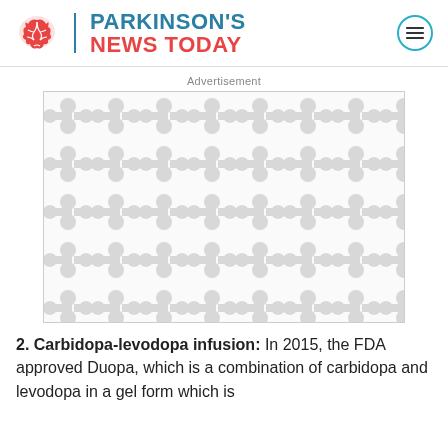PARKINSON'S NEWS TODAY
Advertisement
[Figure (other): Advertisement placeholder with a repeating molecular/connection pattern in light gray on white background]
2. Carbidopa-levodopa infusion: In 2015, the FDA approved Duopa, which is a combination of carbidopa and levodopa in a gel form which is